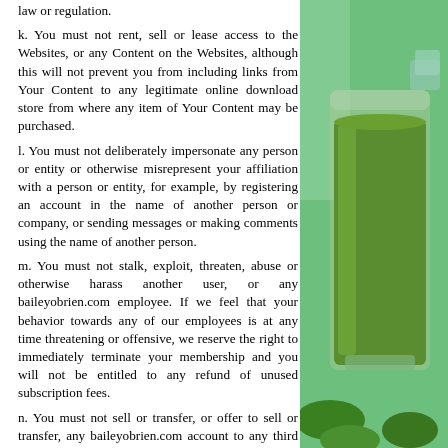law or regulation.
k. You must not rent, sell or lease access to the Websites, or any Content on the Websites, although this will not prevent you from including links from Your Content to any legitimate online download store from where any item of Your Content may be purchased.
l. You must not deliberately impersonate any person or entity or otherwise misrepresent your affiliation with a person or entity, for example, by registering an account in the name of another person or company, or sending messages or making comments using the name of another person.
m. You must not stalk, exploit, threaten, abuse or otherwise harass another user, or any baileyobrien.com employee. If we feel that your behavior towards any of our employees is at any time threatening or offensive, we reserve the right to immediately terminate your membership and you will not be entitled to any refund of unused subscription fees.
n. You must not sell or transfer, or offer to sell or transfer, any baileyobrien.com account to any third party without the prior written approval of baileyobrien.com.
o. You must not collect or attempt to collect personal data, or any other kind of information
[Figure (photo): A glass of green smoothie on a teal/green background, photographed from the side. Some green vegetables or fruit visible at the bottom right.]